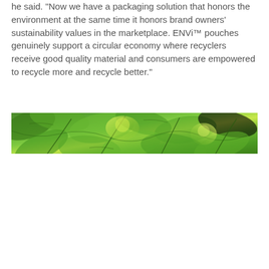he said. Now we have a packaging solution that honors the environment at the same time it honors brand owners' sustainability values in the marketplace. ENVi™ pouches genuinely support a circular economy where recyclers receive good quality material and consumers are empowered to recycle more and recycle better."
[Figure (photo): A horizontal banner photograph of green leaves with sunlight filtering through, creating a lush green foliage scene.]